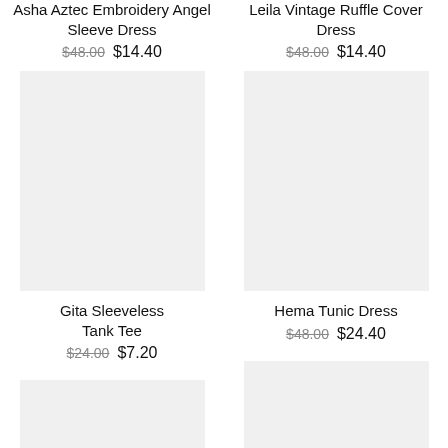Asha Aztec Embroidery Angel Sleeve Dress
$48.00  $14.40
Leila Vintage Ruffle Cover Dress
$48.00  $14.40
[Figure (photo): Product image placeholder for Gita Sleeveless Tank Tee]
[Figure (photo): Product image placeholder for Hema Tunic Dress]
Gita Sleeveless Tank Tee
$24.00  $7.20
Hema Tunic Dress
$48.00  $24.40
[Figure (photo): Product image placeholder bottom left]
[Figure (photo): Product image placeholder bottom right]